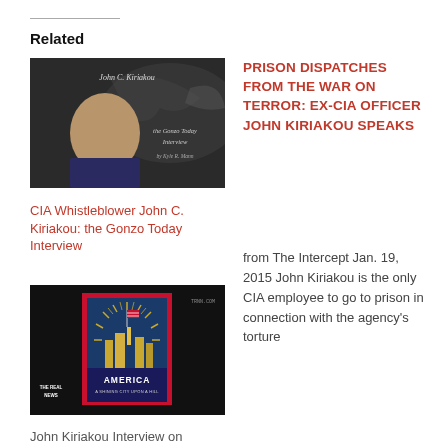Related
[Figure (photo): Book cover for 'John C. Kiriakou: the Gonzo Today Interview' showing a man's face and an eagle silhouette]
CIA Whistleblower John C. Kiriakou: the Gonzo Today Interview
[Figure (photo): Thumbnail image for John Kiriakou Interview on RealNews showing a poster 'America: A Shining City Upon a Hill' with red, white and blue design]
John Kiriakou Interview on RealNews
PRISON DISPATCHES FROM THE WAR ON TERROR: EX-CIA OFFICER JOHN KIRIAKOU SPEAKS
from The Intercept Jan. 19, 2015 John Kiriakou is the only CIA employee to go to prison in connection with the agency's torture